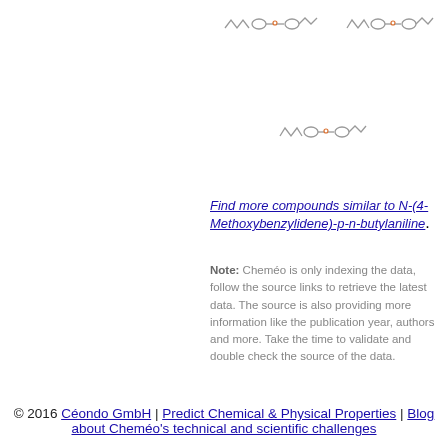[Figure (illustration): Two skeletal chemical structure diagrams of liquid crystal molecules (MBBA-like) shown side by side at the top right of the page, with zigzag chain and benzene ring motifs connected by N=CH linkage with oxygen substituent, drawn in grey/black with orange/red atom highlights]
[Figure (illustration): One skeletal chemical structure diagram of a liquid crystal molecule shown in the center-right area, similar to above structures]
Find more compounds similar to N-(4-Methoxybenzylidene)-p-n-butylaniline.
Note: Cheméo is only indexing the data, follow the source links to retrieve the latest data. The source is also providing more information like the publication year, authors and more. Take the time to validate and double check the source of the data.
© 2016 Céondo GmbH | Predict Chemical & Physical Properties | Blog about Cheméo's technical and scientific challenges